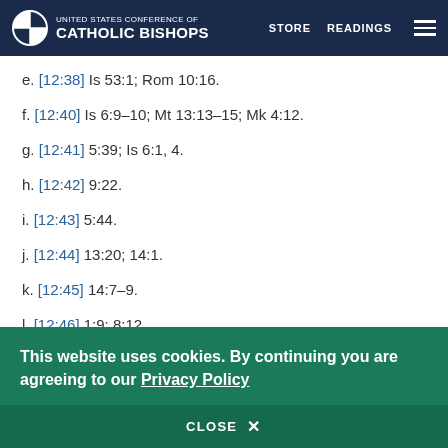United States Conference of Catholic Bishops — STORE  READINGS
e. [12:38] Is 53:1; Rom 10:16.
f. [12:40] Is 6:9–10; Mt 13:13–15; Mk 4:12.
g. [12:41] 5:39; Is 6:1, 4.
h. [12:42] 9:22.
i. [12:43] 5:44.
j. [12:44] 13:20; 14:1.
k. [12:45] 14:7–9.
l. [12:46] 1:9; 8:12.
m. [12:47] 3:17.
This website uses cookies. By continuing you are agreeing to our Privacy Policy
CLOSE  X